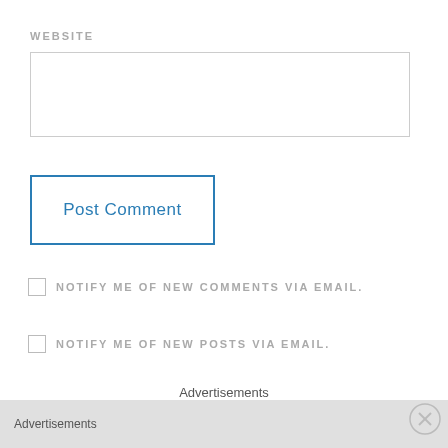WEBSITE
Post Comment
NOTIFY ME OF NEW COMMENTS VIA EMAIL.
NOTIFY ME OF NEW POSTS VIA EMAIL.
Advertisements
[Figure (screenshot): MAC cosmetics advertisement banner with lipsticks and SHOP NOW box, overlaid with Advertisements label and close button]